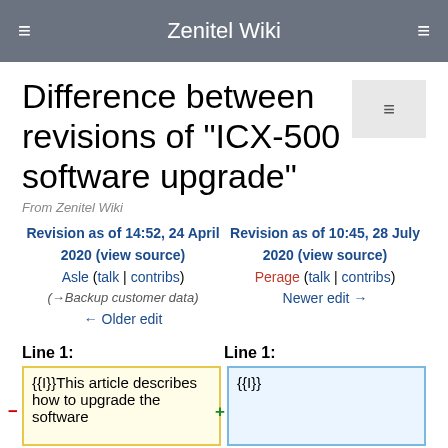Zenitel Wiki
Difference between revisions of "ICX-500 software upgrade"
From Zenitel Wiki
Revision as of 14:52, 24 April 2020 (view source)
Asle (talk | contribs)
(→Backup customer data)
← Older edit
Revision as of 10:45, 28 July 2020 (view source)
Perage (talk | contribs)
Newer edit →
Line 1:
Line 1:
{{I}}This article describes how to upgrade the software
{{I}}